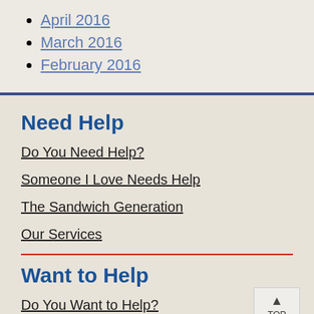April 2016
March 2016
February 2016
Need Help
Do You Need Help?
Someone I Love Needs Help
The Sandwich Generation
Our Services
Want to Help
Do You Want to Help?